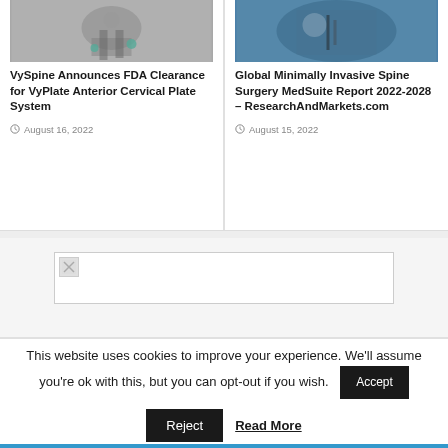[Figure (photo): Medical device - cervical plate system component, metal hardware]
VySpine Announces FDA Clearance for VyPlate Anterior Cervical Plate System
August 16, 2022
[Figure (photo): Surgeon performing minimally invasive spine surgery, blue surgical drape visible]
Global Minimally Invasive Spine Surgery MedSuite Report 2022-2028 – ResearchAndMarkets.com
August 15, 2022
[Figure (other): Placeholder image with broken image icon in a bordered rectangle]
This website uses cookies to improve your experience. We'll assume you're ok with this, but you can opt-out if you wish.